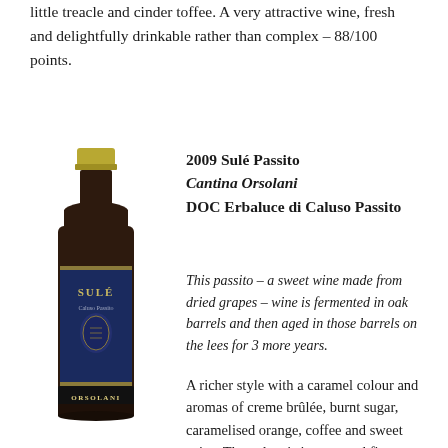little treacle and cinder toffee. A very attractive wine, fresh and delightfully drinkable rather than complex – 88/100 points.
[Figure (photo): A bottle of 2009 Sulé Passito wine by Cantina Orsolani, dark bottle with gold foil top and dark label reading 'SULÉ Caluso Passito' with Orsolani branding at the bottom.]
2009 Sulé Passito
Cantina Orsolani
DOC Erbaluce di Caluso Passito
This passito – a sweet wine made from dried grapes – wine is fermented in oak barrels and then aged in those barrels on the lees for 3 more years.
A richer style with a caramel colour and aromas of creme brûlée, burnt sugar, caramelised orange, coffee and sweet spice. The palate is intense and figgy, almost like a an Australian Liqueur Muscat